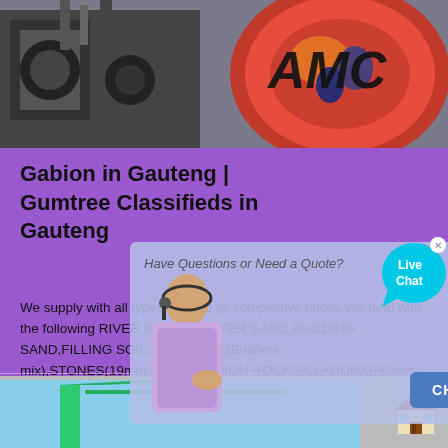[Figure (photo): Industrial machinery and AMC branded equipment photo at the top of the page]
Gabion in Gauteng | Gumtree Classifieds in Gauteng
[Figure (screenshot): Live chat popup overlay with person image, 'Have Questions or Need a Quote?' header, CHAT NOW button, and live chat speech bubble]
We supply with all types of sand @ competitive prices.We deal with the following RIVER SAND,PLASTER SAND,BUILDING SAND,FILLING SOIL,CONCRETE(Builders mix),STONES(19mm,22mm),GABION ROCKS/CLADDING(80mm- 500mm)TOP SOIL,G5/G7 MATERIAL,CRUSHER SAND/RUN,etc.Our sand are all below R400 per cubic metre(m3) and …
[Figure (photo): Partial preview of a second listing image showing green structure against blue sky background at page bottom]